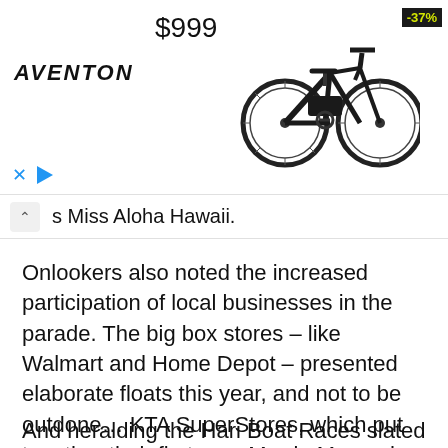[Figure (screenshot): Advertisement banner for Aventon electric bike showing price $999, -37% discount badge, Aventon logo, and a black electric bicycle image with X and play controls]
s Miss Aloha Hawaii.
Onlookers also noted the increased participation of local businesses in the parade. The big box stores – like Walmart and Home Depot – presented elaborate floats this year, and not to be outdone… KTA SuperStores, which put together their first ever Merrie Monarch Parade float this year.
And heralding the Hari Boat Races slated for this